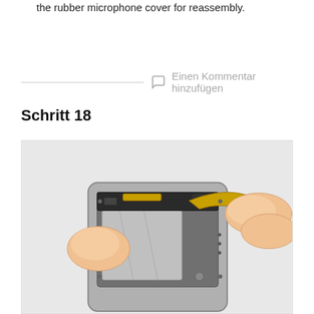the rubber microphone cover for reassembly.
Einen Kommentar hinzufügen
Schritt 18
[Figure (photo): Hands disassembling an iPod or similar device, showing the internal circuit board with a flex cable being peeled back by fingers. The device interior shows the battery, connectors, and circuit components.]